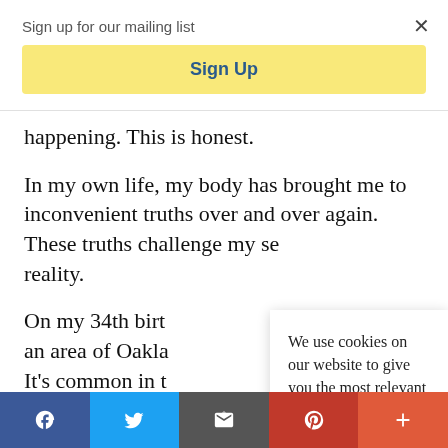Sign up for our mailing list
Sign Up
happening. This is honest.
In my own life, my body has brought me to inconvenient truths over and over again. These truths challenge my se reality.
On my 34th birt an area of Oakla It's common in t community to c
We use cookies on our website to give you the most relevant experience by remembering your preferences and repeat visits. By clicking “Accept”, you consent to the use of cookies.
Accept